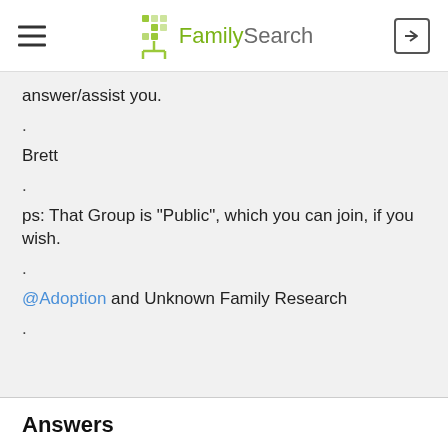FamilySearch
answer/assist you.
.
Brett
.
ps: That Group is "Public", which you can join, if you wish.
.
@Adoption and Unknown Family Research
.
Answers